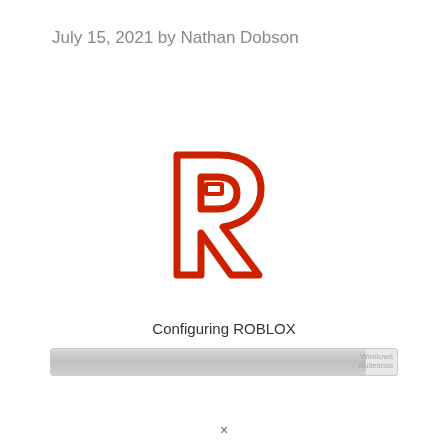July 15, 2021 by Nathan Dobson
[Figure (logo): Roblox logo — stylized red letter R with rectangular cutout, drawn with thick red outline strokes on white background]
Configuring ROBLOX
[Figure (screenshot): A nearly full progress bar with light gray fill and a small text watermark on the right side reading partial text]
×